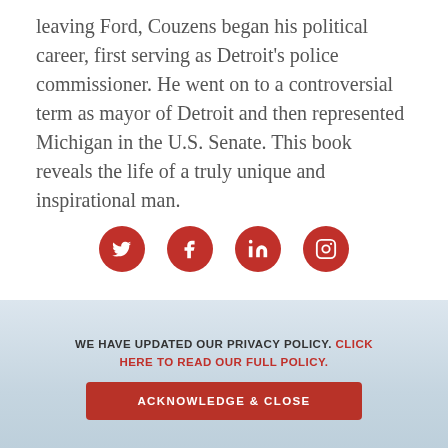leaving Ford, Couzens began his political career, first serving as Detroit's police commissioner. He went on to a controversial term as mayor of Detroit and then represented Michigan in the U.S. Senate. This book reveals the life of a truly unique and inspirational man.
[Figure (infographic): Four red circular social media icons in a row: Twitter, Facebook, LinkedIn, Instagram]
[Figure (photo): Background photo of books or binders with a light grayish-blue tone at the bottom of the page]
WE HAVE UPDATED OUR PRIVACY POLICY. CLICK HERE TO READ OUR FULL POLICY.
ACKNOWLEDGE & CLOSE